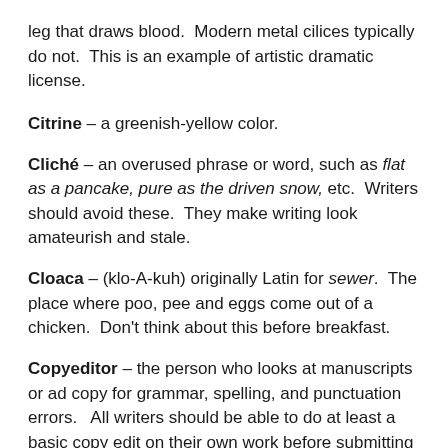leg that draws blood.  Modern metal cilices typically do not.  This is an example of artistic dramatic license.
Citrine – a greenish-yellow color.
Cliché – an overused phrase or word, such as flat as a pancake, pure as the driven snow, etc.  Writers should avoid these.  They make writing look amateurish and stale.
Cloaca – (klo-A-kuh) originally Latin for sewer.  The place where poo, pee and eggs come out of a chicken.  Don't think about this before breakfast.
Copyeditor – the person who looks at manuscripts or ad copy for grammar, spelling, and punctuation errors.   All writers should be able to do at least a basic copy edit on their own work before submitting it to anyone!